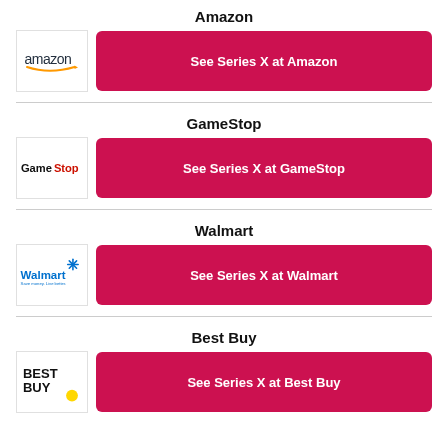Amazon
[Figure (logo): Amazon logo]
See Series X at Amazon
GameStop
[Figure (logo): GameStop logo]
See Series X at GameStop
Walmart
[Figure (logo): Walmart logo]
See Series X at Walmart
Best Buy
[Figure (logo): Best Buy logo]
See Series X at Best Buy